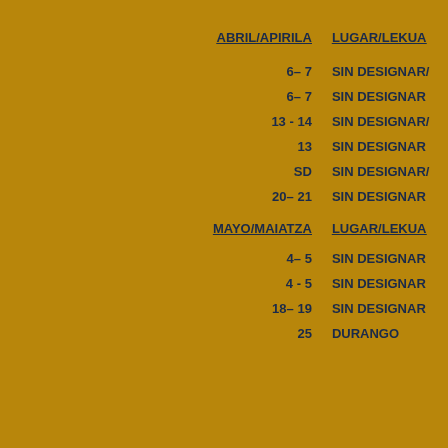| ABRIL/APIRILA | LUGAR/LEKUA |
| --- | --- |
| 6– 7 | SIN DESIGNAR/ |
| 6– 7 | SIN DESIGNAR |
| 13 - 14 | SIN DESIGNAR/ |
| 13 | SIN DESIGNAR |
| SD | SIN DESIGNAR/ |
| 20– 21 | SIN DESIGNAR |
| MAYO/MAIATZA | LUGAR/LEKUA |
| 4– 5 | SIN DESIGNAR |
| 4 - 5 | SIN DESIGNAR |
| 18– 19 | SIN DESIGNAR |
| 25 | DURANGO |